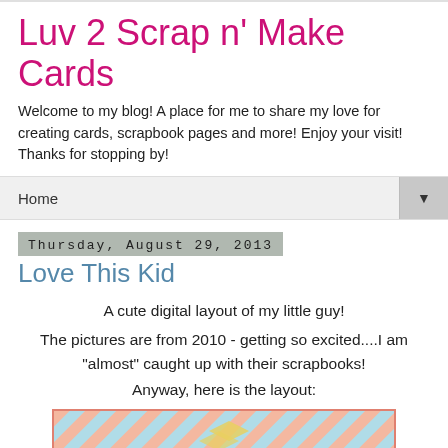Luv 2 Scrap n' Make Cards
Welcome to my blog! A place for me to share my love for creating cards, scrapbook pages and more! Enjoy your visit! Thanks for stopping by!
Home
Thursday, August 29, 2013
Love This Kid
A cute digital layout of my little guy!
The pictures are from 2010 - getting so excited....I am "almost" caught up with their scrapbooks!
Anyway, here is the layout:
[Figure (illustration): Scrapbook layout preview with diagonal stripe pattern in coral and light blue colors]